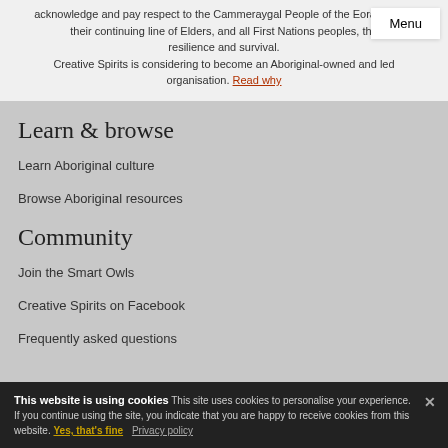acknowledge and pay respect to the Cammeraygal People of the Eora Nation, their continuing line of Elders, and all First Nations peoples, the resilience and survival. Creative Spirits is considering to become an Aboriginal-owned and led organisation. Read why
Learn & browse
Learn Aboriginal culture
Browse Aboriginal resources
Community
Join the Smart Owls
Creative Spirits on Facebook
Frequently asked questions
This website is using cookies This site uses cookies to personalise your experience. If you continue using the site, you indicate that you are happy to receive cookies from this website. Yes, that's fine Privacy policy